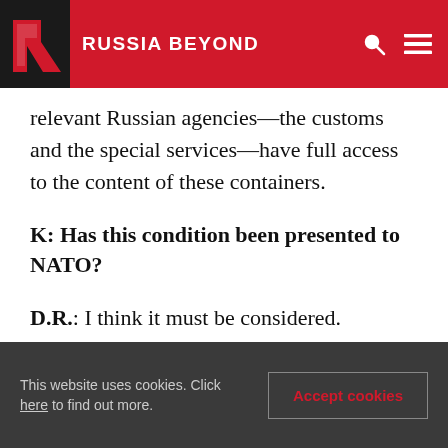RUSSIA BEYOND
relevant Russian agencies—the customs and the special services—have full access to the content of these containers.
K: Has this condition been presented to NATO?
D.R.: I think it must be considered.
K: A joint document on common risk and threat assessment is to be prepared for the Russia-NATO summit. Is it ready? To what extent and on what principles have you come to an agreement with the other [parties]?
This website uses cookies. Click here to find out more.
Accept cookies